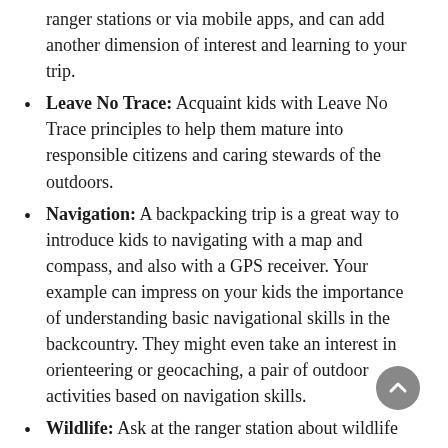ranger stations or via mobile apps, and can add another dimension of interest and learning to your trip.
Leave No Trace: Acquaint kids with Leave No Trace principles to help them mature into responsible citizens and caring stewards of the outdoors.
Navigation: A backpacking trip is a great way to introduce kids to navigating with a map and compass, and also with a GPS receiver. Your example can impress on your kids the importance of understanding basic navigational skills in the backcountry. They might even take an interest in orienteering or geocaching, a pair of outdoor activities based on navigation skills.
Wildlife: Ask at the ranger station about wildlife activity in the area you are visiting. As the adult, you need to understand any precautions necessary (such as proper food storage or how to react during an up-close encounter) for safely coexisting with wildlife. Educate your children...